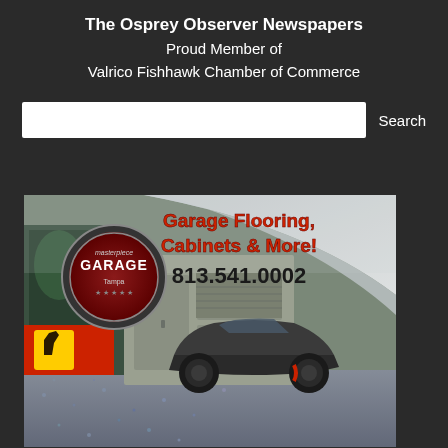The Osprey Observer Newspapers
Proud Member of
Valrico Fishhawk Chamber of Commerce
Search
[Figure (illustration): Masterpiece Garage Tampa advertisement showing a luxury car in a stylish garage with epoxy flooring and custom cabinets. Text reads: Garage Flooring, Cabinets & More! 813.541.0002]